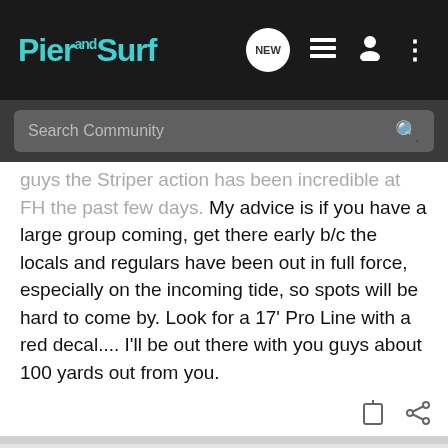Pier and Surf
guys the Striper action has been incredible at FH the past few days. My advice is if you have a large group coming, get there early b/c the locals and regulars have been out in full force, especially on the incoming tide, so spots will be hard to come by. Look for a 17' Pro Line with a red decal.... I'll be out there with you guys about 100 yards out from you.
catman · Registered
Joined May 28, 2001 · 7,090 Posts
#16 · Apr 17, 2003
[Figure (screenshot): Advertisement banner: YOUR NEW FAVORITE SPORT - Explore how to responsibly participate in the shooting sports. START HERE!]
Sandcra... e